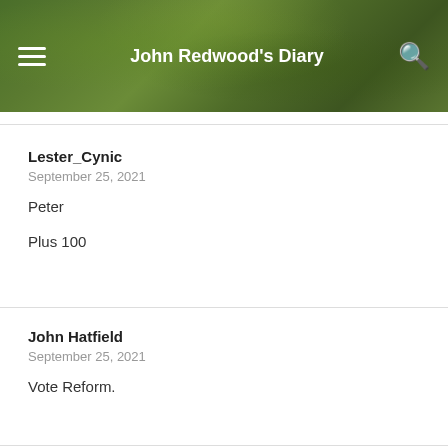John Redwood's Diary
Lester_Cynic
September 25, 2021
Peter

Plus 100
John Hatfield
September 25, 2021
Vote Reform.